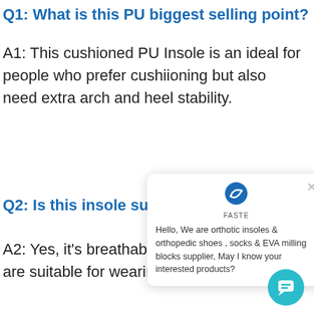Q1: What is this PU biggest selling point?
A1: This cushioned PU Insole is an ideal for people who prefer cushiioning but also need extra arch and heel stability.
Q2: Is this insole suitabl…
A2: Yes, it's breathab… arch support are suitable for wearing all day long.
[Figure (screenshot): Chat popup widget from FASTE brand showing logo, close button, and message: Hello, We are orthotic insoles & orthopedic shoes , socks & EVA milling blocks supplier, May I know your interested products? With a teal chat button in the bottom right.]